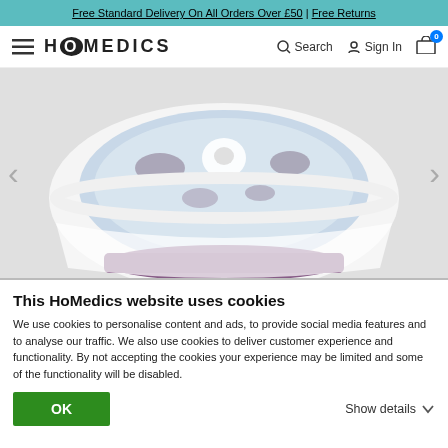Free Standard Delivery On All Orders Over £50 | Free Returns
[Figure (logo): HoMedics logo with hamburger menu icon, Search, Sign In, and cart icon with badge showing 0]
[Figure (photo): Close-up product photo of a HoMedics foot spa basin filled with bubbling water, white and purple/mauve colored, with navigation arrows on left and right]
This HoMedics website uses cookies
We use cookies to personalise content and ads, to provide social media features and to analyse our traffic. We also use cookies to deliver customer experience and functionality. By not accepting the cookies your experience may be limited and some of the functionality will be disabled.
OK
Show details